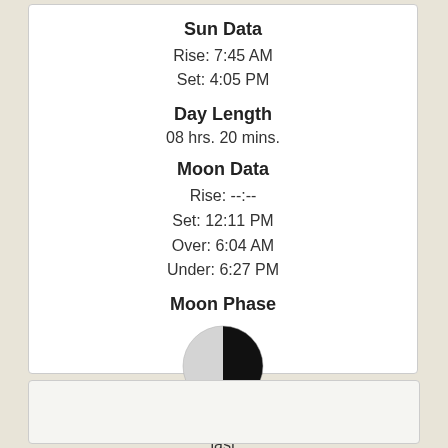Sun Data
Rise: 7:45 AM
Set: 4:05 PM
Day Length
08 hrs. 20 mins.
Moon Data
Rise: --:--
Set: 12:11 PM
Over: 6:04 AM
Under: 6:27 PM
Moon Phase
[Figure (illustration): Half moon icon showing last quarter phase — left half light grey, right half black, circular shape]
50%
last
quarter
Explanation